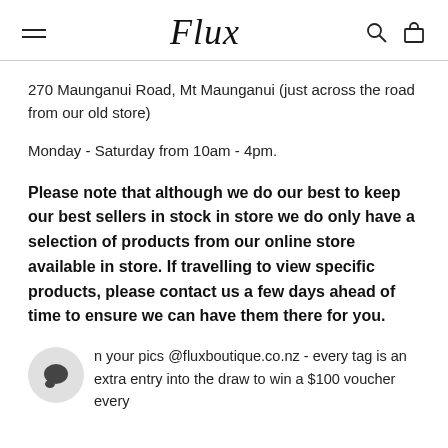Flux
270 Maunganui Road, Mt Maunganui (just across the road from our old store)
Monday - Saturday from 10am - 4pm.
Please note that although we do our best to keep our best sellers in stock in store we do only have a selection of products from our online store available in store. If travelling to view specific products, please contact us a few days ahead of time to ensure we can have them there for you.
n your pics @fluxboutique.co.nz - every tag is an extra entry into the draw to win a $100 voucher every